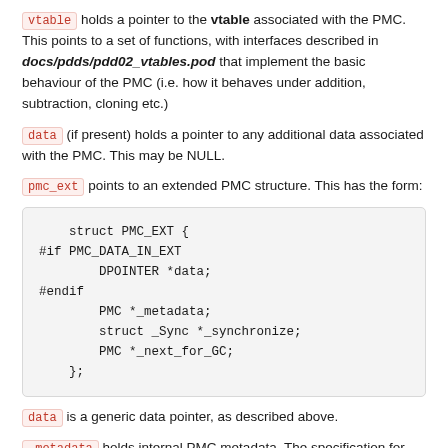vtable holds a pointer to the vtable associated with the PMC. This points to a set of functions, with interfaces described in docs/pdds/pdd02_vtables.pod that implement the basic behaviour of the PMC (i.e. how it behaves under addition, subtraction, cloning etc.)
data (if present) holds a pointer to any additional data associated with the PMC. This may be NULL.
pmc_ext points to an extended PMC structure. This has the form:
struct PMC_EXT {
#if PMC_DATA_IN_EXT
        DPOINTER *data;
#endif
        PMC *_metadata;
        struct _Sync *_synchronize;
        PMC *_next_for_GC;
    };
data is a generic data pointer, as described above.
_metadata holds internal PMC metadata. The specification for